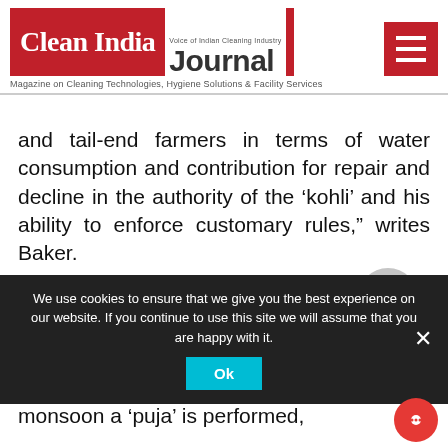Clean India Journal - Magazine on Cleaning Technologies, Hygiene Solutions & Facility Services
and tail-end farmers in terms of water consumption and contribution for repair and decline in the authority of the ‘kohli’ and his ability to enforce customary rules,” writes Baker.
Interestingly, while a man always occupied the position of the ‘kohli’ and men did the maintenance work, most of the kuhls have a female deity. Before the onset of the monsoon a ‘puja’ is performed,
We use cookies to ensure that we give you the best experience on our website. If you continue to use this site we will assume that you are happy with it.